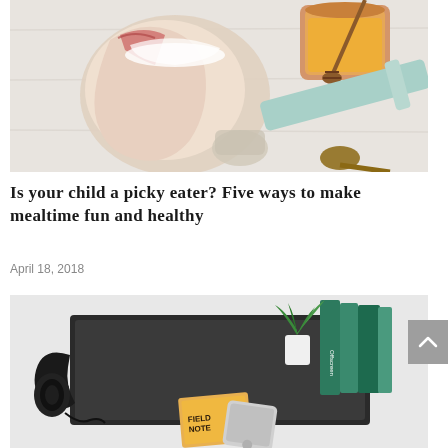[Figure (photo): Overhead view of baking ingredients on a white wooden surface: a paper bag with flour spilling out, a jar of honey with a wooden honey dipper, a light blue spatula/bench scraper, and measuring spoons]
Is your child a picky eater? Five ways to make mealtime fun and healthy
April 18, 2018
[Figure (photo): Overhead flat lay of a desk workspace with headphones, a laptop, books including one labeled 'Offscreen', a small plant, a Field Notes notebook, and a smartphone]